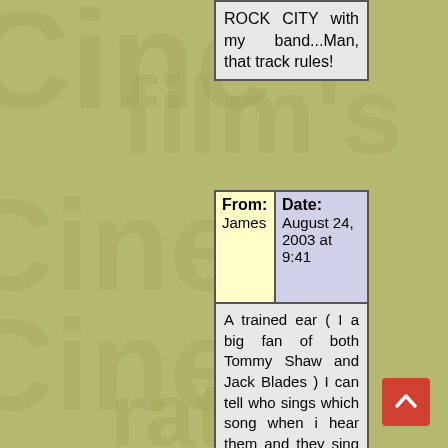ROCK CITY with my band...Man, that track rules!
| From: | Date: |
| --- | --- |
| James | August 24, 2003 at 9:41 |
A trained ear ( I a big fan of both Tommy Shaw and Jack Blades ) I can tell who sings which song when i hear them and they sing a lot together. Tommy has a smoother, higher pitch voice while